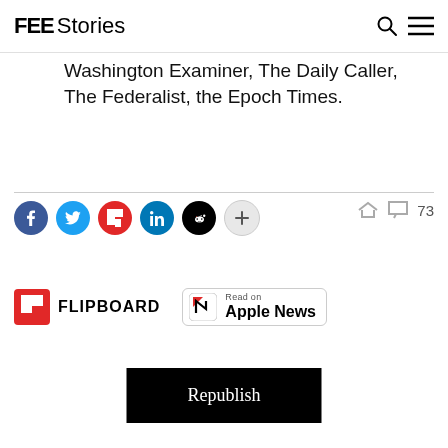FEE Stories
Washington Examiner, The Daily Caller, The Federalist, the Epoch Times.
[Figure (infographic): Social share icons: Facebook, Twitter, Flipboard, LinkedIn, Reddit, and a More (+) button. Share and comment icons with count 73.]
[Figure (logo): Flipboard logo badge and Apple News Read on badge]
Republish